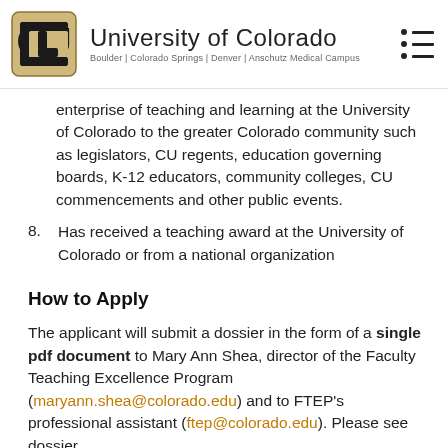University of Colorado | Boulder | Colorado Springs | Denver | Anschutz Medical Campus
enterprise of teaching and learning at the University of Colorado to the greater Colorado community such as legislators, CU regents, education governing boards, K-12 educators, community colleges, CU commencements and other public events.
8. Has received a teaching award at the University of Colorado or from a national organization
How to Apply
The applicant will submit a dossier in the form of a single pdf document to Mary Ann Shea, director of the Faculty Teaching Excellence Program (maryann.shea@colorado.edu) and to FTEP's professional assistant (ftep@colorado.edu). Please see dossier